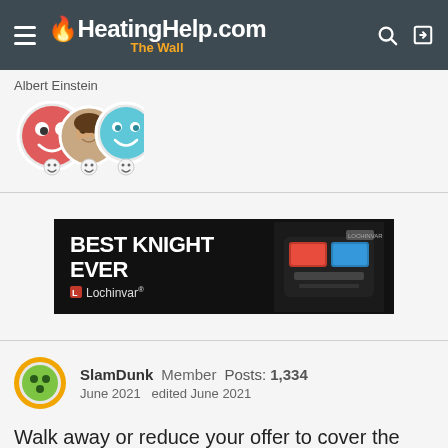HeatingHelp.com The Wall
Albert Einstein
[Figure (illustration): Three overlapping user avatars: a red smiley face icon, a photo of a man's face, and a blue/teal cartoon smiley face, each with a small emoji reaction icon below]
[Figure (photo): Advertisement banner: black background with white bold text 'BEST KNIGHT EVER' and Lochinvar logo, with image of heating equipment on right]
SlamDunk   Member   Posts: 1,334
June 2021   edited June 2021
Walk away or reduce your offer to cover the cost of clean up and replacement. You were just blessed this happened last week and not next week!!